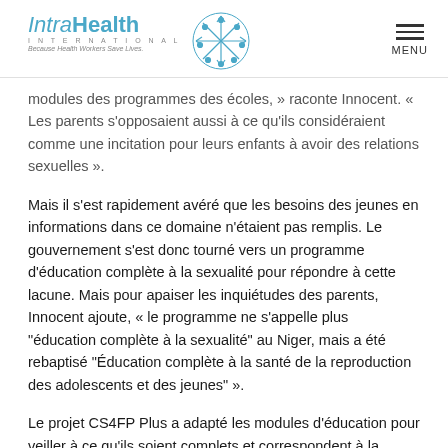IntraHealth International — Because Health Workers Save Lives | MENU
modules des programmes des écoles, » raconte Innocent. « Les parents s'opposaient aussi à ce qu'ils considéraient comme une incitation pour leurs enfants à avoir des relations sexuelles ».
Mais il s'est rapidement avéré que les besoins des jeunes en informations dans ce domaine n'étaient pas remplis. Le gouvernement s'est donc tourné vers un programme d'éducation complète à la sexualité pour répondre à cette lacune. Mais pour apaiser les inquiétudes des parents, Innocent ajoute, « le programme ne s'appelle plus "éducation complète à la sexualité" au Niger, mais a été rebaptisé "Éducation complète à la santé de la reproduction des adolescents et des jeunes" ».
Le projet CS4FP Plus a adapté les modules d'éducation pour veiller à ce qu'ils soient complets et correspondent à la réalité socioculturelle propre au Niger, en partenariat avec le ministère